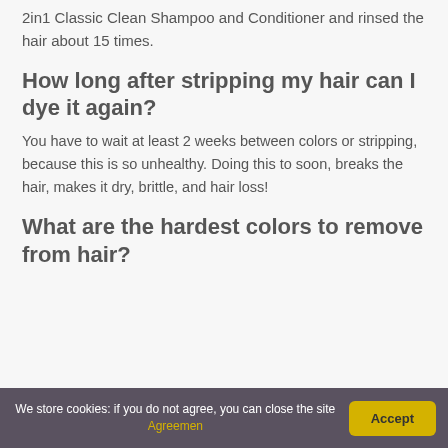2in1 Classic Clean Shampoo and Conditioner and rinsed the hair about 15 times.
How long after stripping my hair can I dye it again?
You have to wait at least 2 weeks between colors or stripping, because this is so unhealthy. Doing this to soon, breaks the hair, makes it dry, brittle, and hair loss!
What are the hardest colors to remove from hair?
We store cookies: if you do not agree, you can close the site Agreemen
Accept